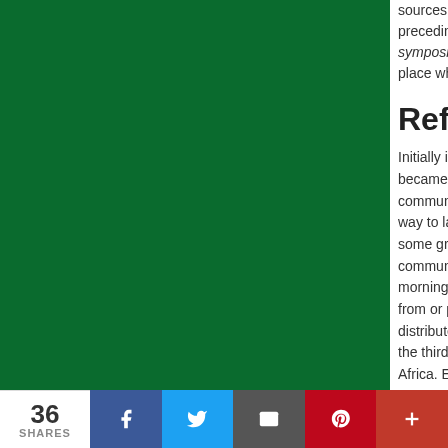[Figure (photo): Large green rectangle representing a cropped image]
sources combining preceding the deipnon symposion section, the place where the
Reflectio
Initially indistinguishable, became more community. As way to larger ve some groups m communities, s morning ritual: from or perhap distributes only the third centu Africa. Evening Eucharistic cele only was distrib
36 SHARES  [Facebook] [Twitter] [Email] [Pinterest] [More]